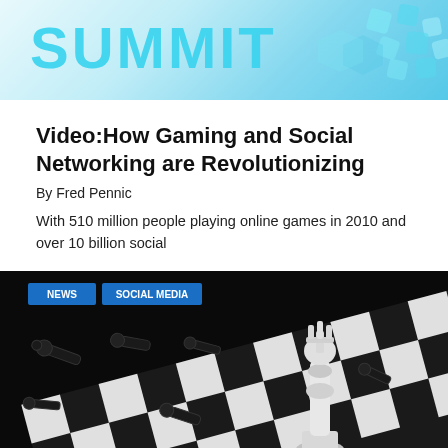[Figure (illustration): Banner header with teal/blue gradient background, large partial text 'SUMMIT' or similar in cyan, and decorative diamond/square shapes on the right side]
Video:How Gaming and Social Networking are Revolutionizing
By Fred Pennic
With 510 million people playing online games in 2010 and over 10 billion social
[Figure (photo): Chess board photo with black chess pieces knocked over and a single white king chess piece standing tall in the center-right, dramatic black background with chess board pattern visible]